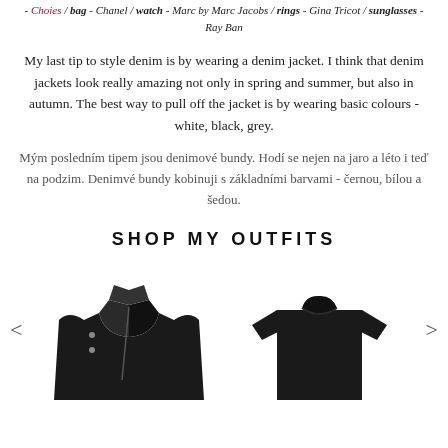- Choies / bag - Chanel / watch - Marc by Marc Jacobs / rings - Gina Tricot / sunglasses - Ray Ban
My last tip to style denim is by wearing a denim jacket. I think that denim jackets look really amazing not only in spring and summer, but also in autumn. The best way to pull off the jacket is by wearing basic colours - white, black, grey.
Mým posledním tipem jsou denimové bundy. Hodí se nejen na jaro a léto i teď na podzim. Denimvé bundy kobinuji s základními barvami - černou, bílou a šedou.
SHOP MY OUTFITS
[Figure (photo): Black leather biker jacket product photo on white background]
[Figure (photo): Black short-sleeve t-shirt product photo on white background]